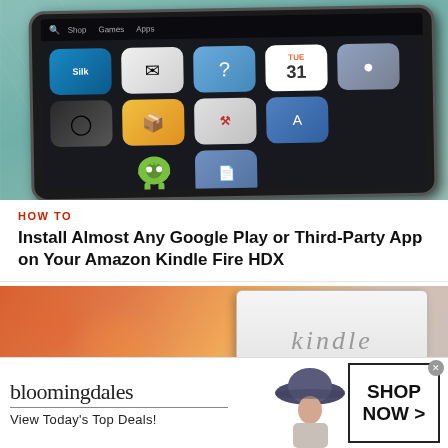[Figure (photo): Amazon Kindle Fire HDX tablet showing app grid with icons including Silk browser, Android robot, camera, Amazon, calendar and other apps on screen, placed on teal cutting mat background]
HOW TO
Install Almost Any Google Play or Third-Party App on Your Amazon Kindle Fire HDX
[Figure (photo): Close-up photo of a white Amazon Kindle e-reader device showing the 'kindle' logo on its front, with a warm orange/red bokeh background]
[Figure (photo): Bloomingdales advertisement banner showing logo, 'View Today's Top Deals!' tagline, a woman in a wide-brim hat, and a 'SHOP NOW >' call-to-action button]